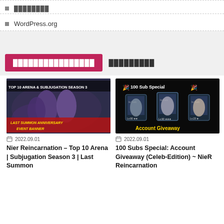□ ████████
□ WordPress.org
████████████████ █████████
[Figure (screenshot): TOP 10 ARENA & SUBJUGATION SEASON 3 - Last Summon Anniversary Event Banner game promotional image]
2022.09.01
Nier Reincarnation – Top 10 Arena | Subjugation Season 3 | Last Summon
[Figure (screenshot): 100 Sub Special Account Giveaway - NieR Reincarnation promotional image with character cards]
2022.09.01
100 Subs Special: Account Giveaway (Celeb-Edition) ~ NieR Reincarnation